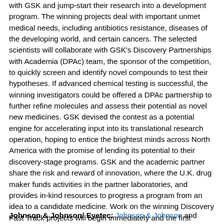with GSK and jump-start their research into a development program. The winning projects deal with important unmet medical needs, including antibiotics resistance, diseases of the developing world, and certain cancers. The selected scientists will collaborate with GSK's Discovery Partnerships with Academia (DPAc) team, the sponsor of the competition, to quickly screen and identify novel compounds to test their hypotheses. If advanced chemical testing is successful, the winning investigators could be offered a DPAc partnership to further refine molecules and assess their potential as novel new medicines. GSK devised the contest as a potential engine for accelerating input into its translational research operation, hoping to entice the brightest minds across North America with the promise of lending its potential to their discovery-stage programs. GSK and the academic partner share the risk and reward of innovation, where the U.K. drug maker funds activities in the partner laboratories, and provides in-kind resources to progress a program from an idea to a candidate medicine. Work on the winning Discovery Fast Track projects will begin immediately and the first screens are expected to be completed in mid-2014. - S.S.
Johnson & Johnson/ Eyetec: Johnson & Johnson and